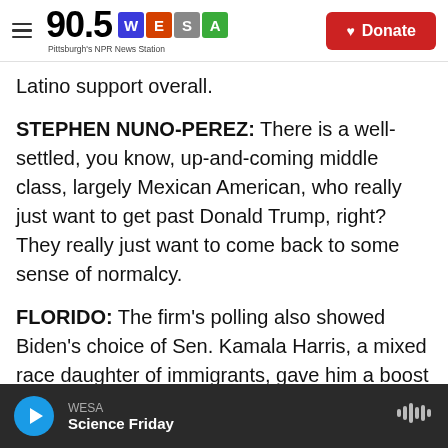90.5 WESA Pittsburgh's NPR News Station | Donate
Latino support overall.
STEPHEN NUNO-PEREZ: There is a well-settled, you know, up-and-coming middle class, largely Mexican American, who really just want to get past Donald Trump, right? They really just want to come back to some sense of normalcy.
FLORIDO: The firm's polling also showed Biden's choice of Sen. Kamala Harris, a mixed race daughter of immigrants, gave him a boost among Latinos.
NUNO-PEREZ: I think the question is, does that
WESA | Science Friday